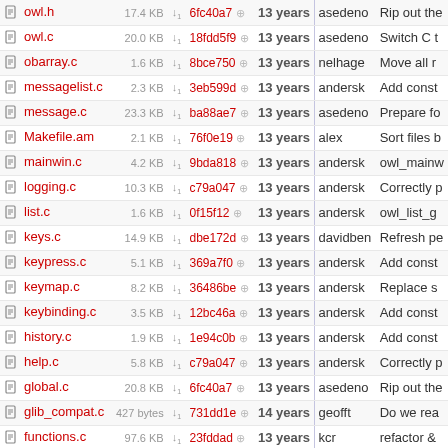| Name | Size |  | Hash |  | Age |  | Author | Description |
| --- | --- | --- | --- | --- | --- | --- | --- | --- |
| owl.h | 17.4 KB | ↓ | 6fc40a7 | ⚙ | 13 years | | | asedeno | Rip out the |
| owl.c | 20.0 KB | ↓ | 18fdd5f9 | ⚙ | 13 years | | | asedeno | Switch C t |
| obarray.c | 1.6 KB | ↓ | 8bce750 | ⚙ | 13 years | | | nelhage | Move all r |
| messagelist.c | 2.3 KB | ↓ | 3eb599d | ⚙ | 13 years | | | andersk | Add const |
| message.c | 23.3 KB | ↓ | ba88ae7 | ⚙ | 13 years | | | asedeno | Prepare fo |
| Makefile.am | 2.1 KB | ↓ | 76f0e19 | ⚙ | 13 years | | | alex | Sort files b |
| mainwin.c | 4.2 KB | ↓ | 9bda818 | ⚙ | 13 years | | | andersk | owl_mainw |
| logging.c | 10.3 KB | ↓ | c79a047 | ⚙ | 13 years | | | andersk | Correctly p |
| list.c | 1.6 KB | ↓ | 0f15f12 | ⚙ | 13 years | | | andersk | owl_list_g |
| keys.c | 14.9 KB | ↓ | dbe172d | ⚙ | 13 years | | | davidben | Refresh pe |
| keypress.c | 5.1 KB | ↓ | 369a7f0 | ⚙ | 13 years | | | andersk | Add const |
| keymap.c | 8.2 KB | ↓ | 36486be | ⚙ | 13 years | | | andersk | Replace s |
| keybinding.c | 3.5 KB | ↓ | 12bc46a | ⚙ | 13 years | | | andersk | Add const |
| history.c | 1.9 KB | ↓ | 1e94c0b | ⚙ | 13 years | | | andersk | Add const |
| help.c | 5.8 KB | ↓ | c79a047 | ⚙ | 13 years | | | andersk | Correctly p |
| global.c | 20.8 KB | ↓ | 6fc40a7 | ⚙ | 13 years | | | asedeno | Rip out the |
| glib_compat.c | 427 bytes | ↓ | 731dd1e | ⚙ | 14 years | | | geofft | Do we rea |
| functions.c | 97.6 KB | ↓ | 23fddad | ⚙ | 13 years | | | kcr | refactor & |
| fmtext.c | 25.7 KB | ↓ | 6c171f1 | ⚙ | 13 years | | | andersk | Use u... |